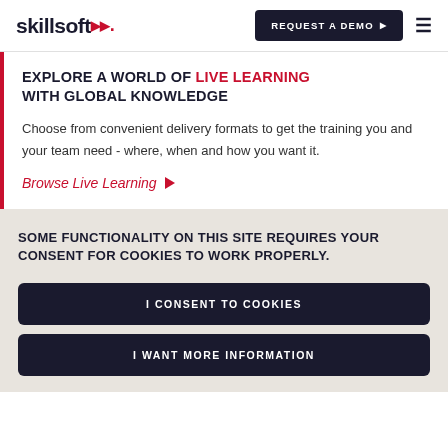skillsoft | REQUEST A DEMO
EXPLORE A WORLD OF LIVE LEARNING WITH GLOBAL KNOWLEDGE
Choose from convenient delivery formats to get the training you and your team need - where, when and how you want it.
Browse Live Learning ▶
SOME FUNCTIONALITY ON THIS SITE REQUIRES YOUR CONSENT FOR COOKIES TO WORK PROPERLY.
I CONSENT TO COOKIES
I WANT MORE INFORMATION